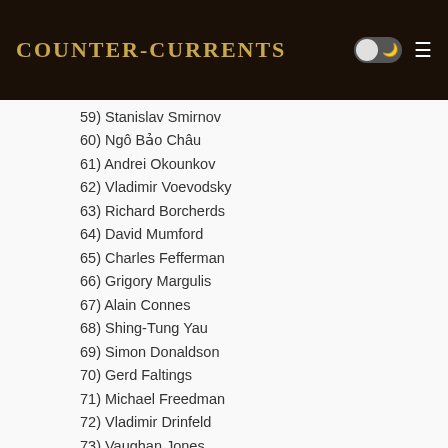Counter-Currents
59) Stanislav Smirnov
60) Ngô Bảo Châu
61) Andrei Okounkov
62) Vladimir Voevodsky
63) Richard Borcherds
64) David Mumford
65) Charles Fefferman
66) Grigory Margulis
67) Alain Connes
68) Shing-Tung Yau
69) Simon Donaldson
70) Gerd Faltings
71) Michael Freedman
72) Vladimir Drinfeld
73) Vaughan Jones
74) Shigefumi Mori
75) Jean Bourgain
76) Pierre-Louis Lions
77) Jean-Christophe Yoccoz
78) Efim Isaakovich Zelmanov
79) Maxim Kontsevich
80) Laurent Lafforgue
81) Andrei Okounkov